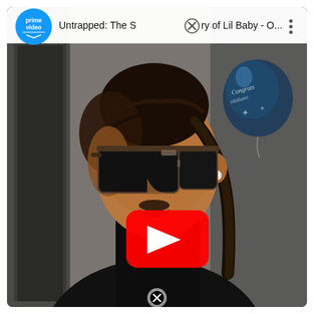[Figure (screenshot): YouTube embedded video player showing a thumbnail of a man wearing sunglasses and braided hair in a black outfit. The video is titled 'Untrapped: The Story of Lil Baby - O...' with an Amazon Prime Video logo in the top left. A red YouTube play button is centered on the thumbnail. A 'Congratulations' balloon is visible in the background. Close (X) buttons appear at top center and bottom center of the player.]